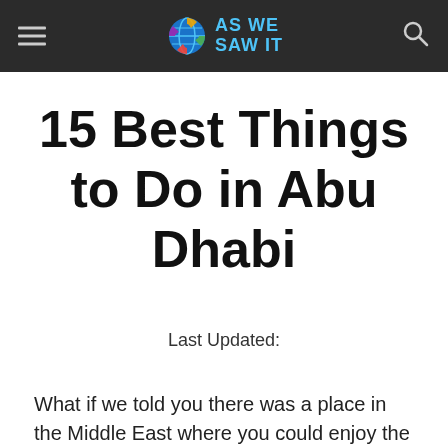AS WE SAW IT
15 Best Things to Do in Abu Dhabi
Last Updated:
What if we told you there was a place in the Middle East where you could enjoy the